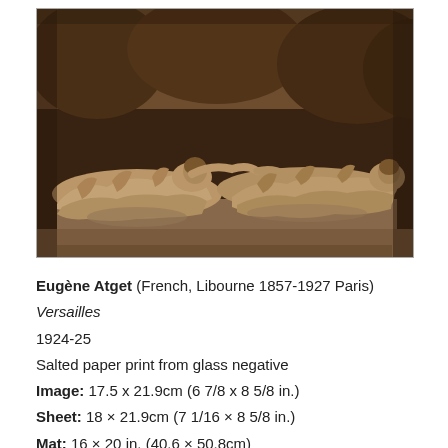[Figure (photo): Sepia-toned photograph of classical marble sculptures of reclining draped figures, likely from Versailles gardens. The figures are recumbent on a stone plinth, wearing flowing robes.]
Eugène Atget (French, Libourne 1857-1927 Paris)
Versailles
1924-25
Salted paper print from glass negative
Image: 17.5 x 21.9cm (6 7/8 x 8 5/8 in.)
Sheet: 18 × 21.9cm (7 1/16 × 8 5/8 in.)
Mat: 16 × 20 in. (40.6 × 50.8cm)
Gilman Collection, Purchase, Ann Tenenbaum and